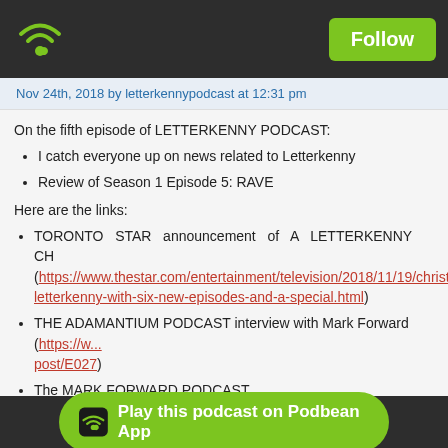Podbean app header with WiFi/Follow button
Nov 24th, 2018 by letterkennypodcast at 12:31 pm
On the fifth episode of LETTERKENNY PODCAST:
I catch everyone up on news related to Letterkenny
Review of Season 1 Episode 5: RAVE
Here are the links:
TORONTO STAR announcement of A LETTERKENNY CH (https://www.thestar.com/entertainment/television/2018/11/19/christmas-letterkenny-with-six-new-episodes-and-a-special.html)
THE ADAMANTIUM PODCAST interview with Mark Forward (https://w...post/E027)
The MARK FORWARD PODCAST (http://www.markforwardpodcast.com)
The MERRIMACK COLLE (https://merrimacknewspaper.com/index.php/2018/11/12/letterkenny-a-c-masterpiece/)
THE... (LTH+-+REMA...)
Play this podcast on Podbean App